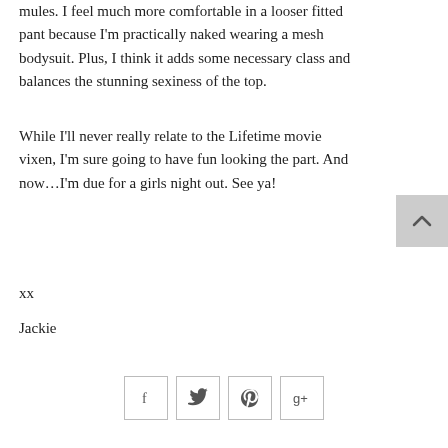mules. I feel much more comfortable in a looser fitted pant because I'm practically naked wearing a mesh bodysuit. Plus, I think it adds some necessary class and balances the stunning sexiness of the top.
While I'll never really relate to the Lifetime movie vixen, I'm sure going to have fun looking the part. And now…I'm due for a girls night out. See ya!
xx
Jackie
[Figure (other): Back to top button (chevron up arrow on gray background)]
[Figure (other): Social sharing icons: Facebook, Twitter, Pinterest, Google+]